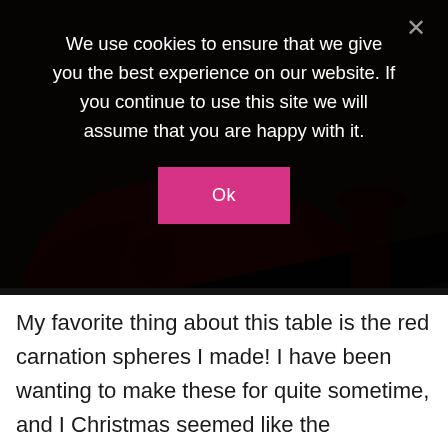We use cookies to ensure that we give you the best experience on our website. If you continue to use this site we will assume that you are happy with it.
Ok
[Figure (photo): Close-up photo of red carnation spheres decorated with black and white holiday ribbon, with a wine glass containing red wine visible in the background, on a wooden table. Watermark reads 'Celebrate & Decorate'.]
My favorite thing about this table is the red carnation spheres I made!  I have been wanting to make these for quite sometime, and I Christmas seemed like the